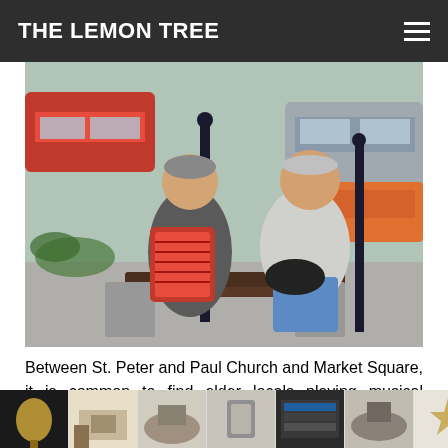THE LEMON TREE
[Figure (photo): Two elderly men sitting on a bench on a city street. The man on the left is playing a red accordion and smiling. The man on the right in a grey sweater and blue trousers holds a black bag. Cars and ornamental street lamp posts are visible in the background.]
Between St. Peter and Paul Church and Market Square, it is common to find elder locals playing musical instruments along Grodzka Street.
[Figure (photo): Advertisement strip showing multiple interior/home decor thumbnails at the bottom of the page.]